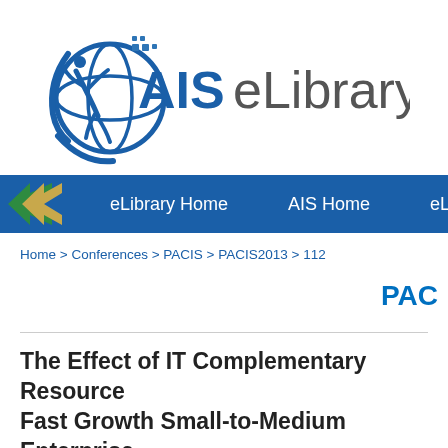[Figure (logo): AIS eLibrary logo with globe and figure icon on the left, bold 'AIS' text and 'eLibrary' in a lighter font on the right.]
eLibrary Home   AIS Home   eLib
Home > Conferences > PACIS > PACIS2013 > 112
PAC
The Effect of IT Complementary Resource on Fast Growth Small-to-Medium Enterprise Performance: A Resource-based View